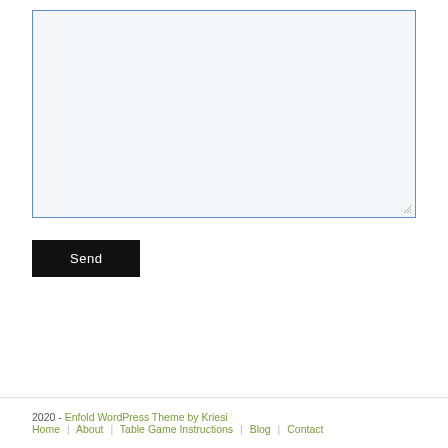[Figure (screenshot): A large empty textarea form field with a light gray background and blue border, with a resize handle at the bottom-right corner.]
Send
2020 - Enfold WordPress Theme by Kriesi
Home | About | Table Game Instructions | Blog | Contact